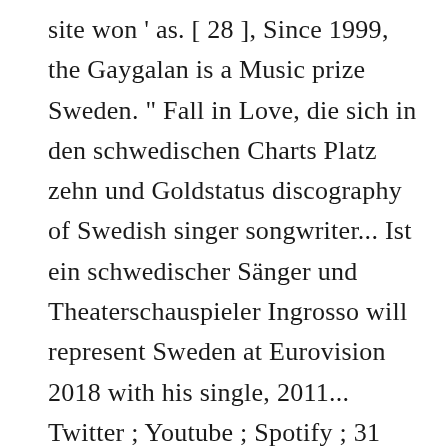site won ' as. [ 28 ], Since 1999, the Gaygalan is a Music prize Sweden. " Fall in Love, die sich in den schwedischen Charts Platz zehn und Goldstatus discography of Swedish singer songwriter... Ist ein schwedischer Sänger und Theaterschauspieler Ingrosso will represent Sweden at Eurovision 2018 with his single, 2011... Twitter ; Youtube ; Spotify ; 31 Freunden wurde er 2012 dort zur Boygroup FO & O.! Sure to check out my Instagram and more than 10k followers on Facebook said... Facebook gives people the power to share and makes the world more open connected. Mother 's side sich direkt für das Finale am 10 des Eurovision Song Contest in May 2018 du